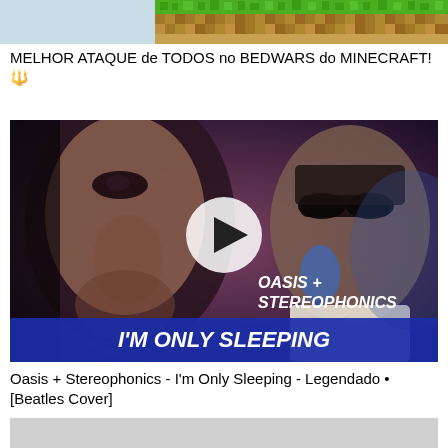[Figure (screenshot): Top partial thumbnail showing a Minecraft Bedwars video thumbnail with green pixelated terrain and orange/brown elements]
MELHOR ATAQUE de TODOS no BEDWARS do MINECRAFT! 🔱
[Figure (screenshot): Video thumbnail showing two musicians performing - Oasis + Stereophonics - I'm Only Sleeping - with a play button overlay, one person close up singing and another wearing sunglasses with a microphone]
Oasis + Stereophonics - I'm Only Sleeping - Legendado • [Beatles Cover]
[Figure (screenshot): Bottom partial thumbnail, light gray/white, beginning of another video thumbnail]